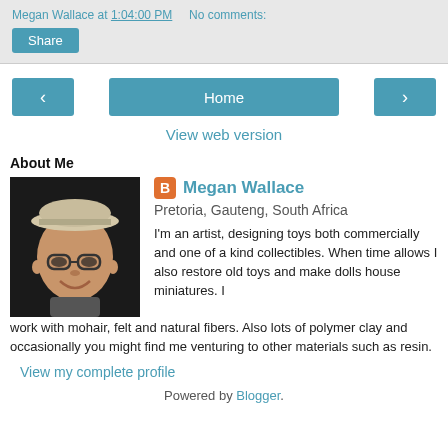Megan Wallace at 1:04:00 PM   No comments:
Share
‹   Home   ›
View web version
About Me
[Figure (photo): Profile photo of Megan Wallace, a woman smiling, wearing glasses and a cap, against a dark background]
Megan Wallace
Pretoria, Gauteng, South Africa
I'm an artist, designing toys both commercially and one of a kind collectibles. When time allows I also restore old toys and make dolls house miniatures. I work with mohair, felt and natural fibers. Also lots of polymer clay and occasionally you might find me venturing to other materials such as resin.
View my complete profile
Powered by Blogger.